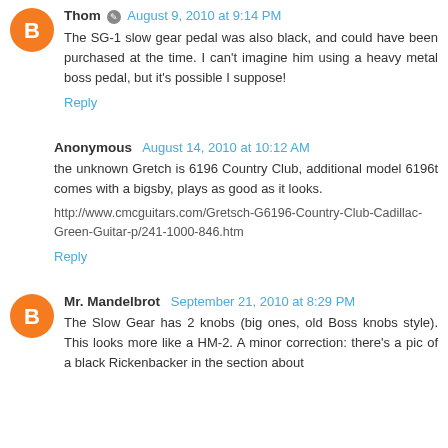Thom · August 9, 2010 at 9:14 PM
The SG-1 slow gear pedal was also black, and could have been purchased at the time. I can't imagine him using a heavy metal boss pedal, but it's possible I suppose!
Reply
Anonymous  August 14, 2010 at 10:12 AM
the unknown Gretch is 6196 Country Club, additional model 6196t comes with a bigsby, plays as good as it looks.
http://www.cmcguitars.com/Gretsch-G6196-Country-Club-Cadillac-Green-Guitar-p/241-1000-846.htm
Reply
Mr. Mandelbrot  September 21, 2010 at 8:29 PM
The Slow Gear has 2 knobs (big ones, old Boss knobs style). This looks more like a HM-2. A minor correction: there's a pic of a black Rickenbacker in the section about